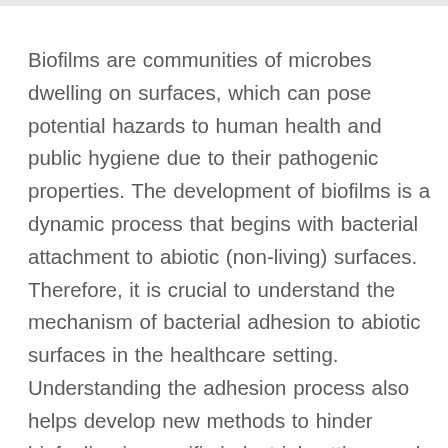Biofilms are communities of microbes dwelling on surfaces, which can pose potential hazards to human health and public hygiene due to their pathogenic properties. The development of biofilms is a dynamic process that begins with bacterial attachment to abiotic (non-living) surfaces. Therefore, it is crucial to understand the mechanism of bacterial adhesion to abiotic surfaces in the healthcare setting. Understanding the adhesion process also helps develop new methods to hinder biofouling in specific industrial settings and inhibit the growth of biofilm on medical devices that may cause infection. This study focused on flagella's involvement in adhesion, a key step in biofilm formation. We